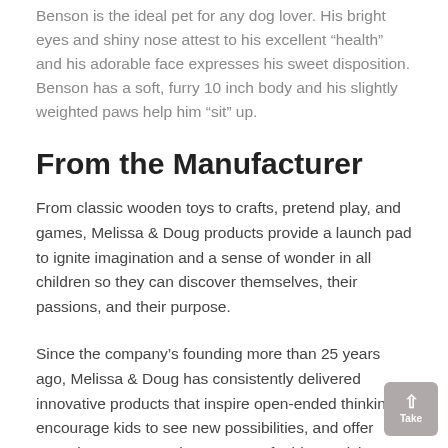Benson is the ideal pet for any dog lover. His bright eyes and shiny nose attest to his excellent “health” and his adorable face expresses his sweet disposition. Benson has a soft, furry 10 inch body and his slightly weighted paws help him “sit” up.
From the Manufacturer
From classic wooden toys to crafts, pretend play, and games, Melissa & Doug products provide a launch pad to ignite imagination and a sense of wonder in all children so they can discover themselves, their passions, and their purpose.
Since the company’s founding more than 25 years ago, Melissa & Doug has consistently delivered innovative products that inspire open-ended thinking, encourage kids to see new possibilities, and offer Countless Ways to Play. It’s part of a bigger vision to Take Back Childhood. Because by giving children a true childhood with the space and freedom to explore their world, we give them a